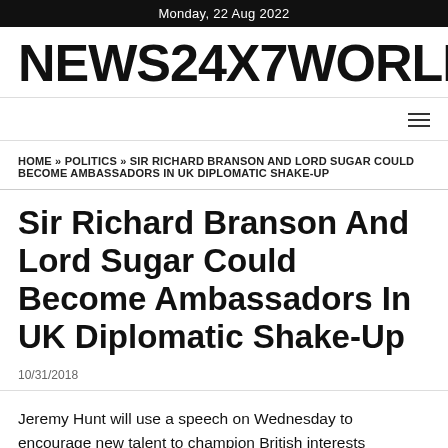Monday, 22 Aug 2022
NEWS24X7WORLD
HOME » POLITICS » SIR RICHARD BRANSON AND LORD SUGAR COULD BECOME AMBASSADORS IN UK DIPLOMATIC SHAKE-UP
Sir Richard Branson And Lord Sugar Could Become Ambassadors In UK Diplomatic Shake-Up
10/31/2018
Jeremy Hunt will use a speech on Wednesday to encourage new talent to champion British interests overseas and strike deals with other countries after Brexit.